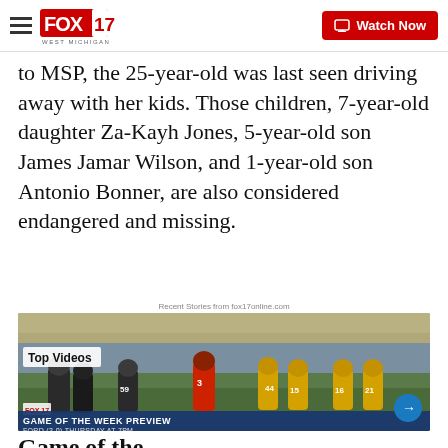FOX 17 WEST MICHIGAN — Watch Now
to MSP, the 25-year-old was last seen driving away with her kids. Those children, 7-year-old daughter Za-Kayh Jones, 5-year-old son James Jamar Wilson, and 1-year-old son Antonio Bonner, are also considered endangered and missing.
Recent Stories from fox17online.com
[Figure (screenshot): Video thumbnail showing a football game in progress with players in dark and gold uniforms. A 'Top Videos' label appears in the upper left. A dark blue bar at the bottom reads 'GAME OF THE WEEK PREVIEW' with 'FORD (3-0) THURSDAY AT 7PM' below.]
Game of the